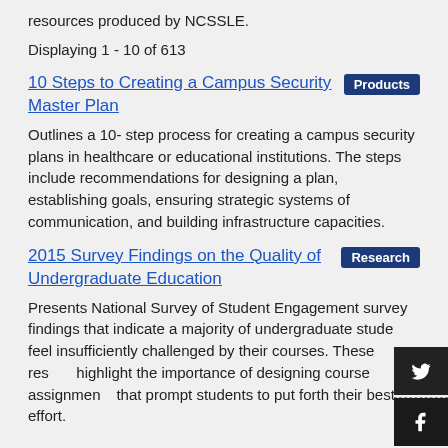resources produced by NCSSLE.
Displaying 1 - 10 of 613
10 Steps to Creating a Campus Security Master Plan
Products
Outlines a 10- step process for creating a campus security plans in healthcare or educational institutions. The steps include recommendations for designing a plan, establishing goals, ensuring strategic systems of communication, and building infrastructure capacities.
2015 Survey Findings on the Quality of Undergraduate Education
Research
Presents National Survey of Student Engagement survey findings that indicate a majority of undergraduate students feel insufficiently challenged by their courses. These results highlight the importance of designing course assignments that prompt students to put forth their best effort.